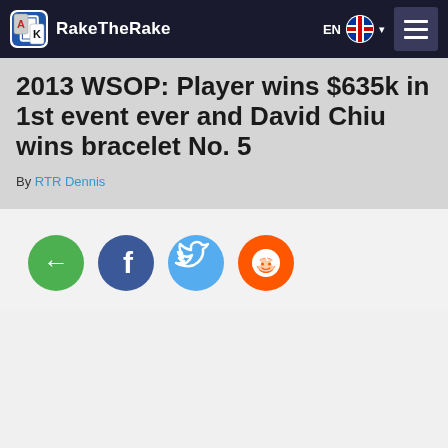RakeTheRake
2013 WSOP: Player wins $635k in 1st event ever and David Chiu wins bracelet No. 5
By RTR Dennis
[Figure (infographic): Social sharing buttons: back arrow (green), Facebook (dark blue), Twitter (light blue), Reddit (orange)]